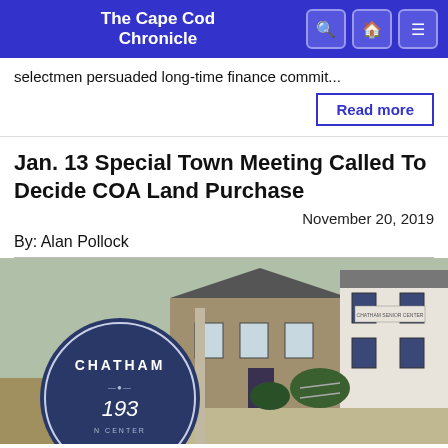The Cape Cod Chronicle
selectmen persuaded long-time finance commit...
Read more
Jan. 13 Special Town Meeting Called To Decide COA Land Purchase
November 20, 2019
By: Alan Pollock
[Figure (photo): Chatham Senior Center building with a round Chatham 193 sign in the foreground, showing a shingled building and white colonial-style building in the background.]